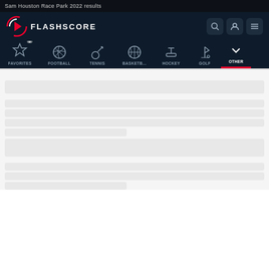Sam Houston Race Park 2022 results
[Figure (screenshot): Flashscore website navigation header with logo, search, user and menu icons, and sport category tabs: Favorites (0), Football, Tennis, Basketball, Hockey, Golf, Other (active)]
[Figure (other): Loading skeleton placeholder bars for sports results content — multiple grey rounded rectangles indicating loading state]